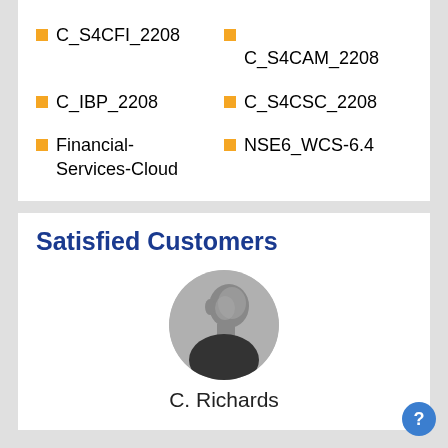C_S4CFI_2208
C_S4CAM_2208
C_IBP_2208
C_S4CSC_2208
Financial-Services-Cloud
NSE6_WCS-6.4
Satisfied Customers
[Figure (photo): Circular cropped black and white photo of a man (C. Richards) looking to the side]
C. Richards